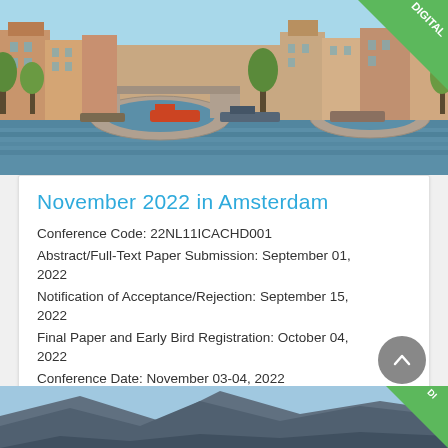[Figure (photo): Amsterdam canal with brick bridge, boats, and traditional Dutch buildings along the waterway, with trees in background]
November 2022 in Amsterdam
Conference Code: 22NL11ICACHD001
Abstract/Full-Text Paper Submission: September 01, 2022
Notification of Acceptance/Rejection: September 15, 2022
Final Paper and Early Bird Registration: October 04, 2022
Conference Date: November 03-04, 2022
[Figure (photo): Mountain landscape with blue sky, partially visible at bottom of page]